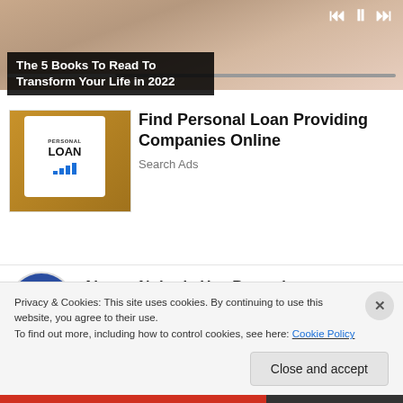[Figure (screenshot): Video thumbnail of a person, with media controls (skip back, pause, skip forward) and a progress bar at the bottom]
The 5 Books To Read To Transform Your Life in 2022
[Figure (photo): Photo of hands holding a tablet displaying 'PERSONAL LOAN' text with a bar chart graphic]
Find Personal Loan Providing Companies Online
Search Ads
[Figure (photo): Partial image of a dark blue circular logo/avatar, partially visible]
Almost Nobody Has Passed
Privacy & Cookies: This site uses cookies. By continuing to use this website, you agree to their use.
To find out more, including how to control cookies, see here: Cookie Policy
Close and accept